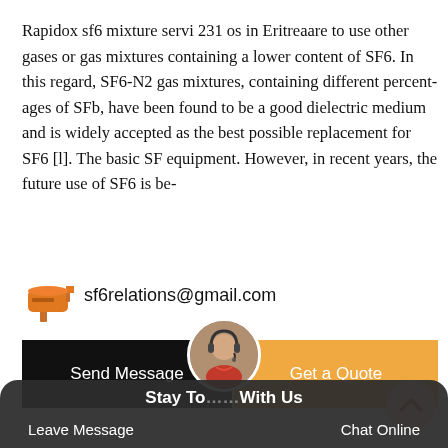Rapidox sf6 mixture servi 231 os in Eritreaare to use other gases or gas mixtures containing a lower content of SF6. In this regard, SF6-N2 gas mixtures, containing different percent- ages of SFb, have been found to be a good dielectric medium and is widely accepted as the best possible replacement for SF6 [l]. The basic SF equipment. However, in recent years, the future use of SF6 is be-
sf6relations@gmail.com
[Figure (other): Email icon (orange/brown mailbox icon)]
Send Message
Get a Quote
[Figure (other): Back to top button - circular peach/salmon colored button with upward chevron]
[Figure (photo): Customer service representative avatar photo in circular frame]
Stay Touch With Us   Leave Message   Chat Online